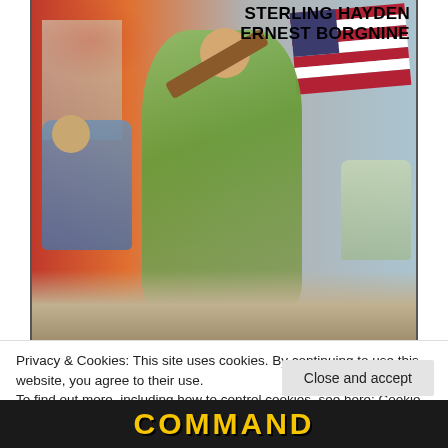[Figure (illustration): Movie poster illustration showing soldiers in action with an American flag, burning buildings in background. Stars Sterling Hayden and Ernest Borgnine.]
STERLING HAYDEN
ERNEST BORGNINE
Privacy & Cookies: This site uses cookies. By continuing to use this website, you agree to their use.
To find out more, including how to control cookies, see here: Cookie Policy
Close and accept
COMMAND